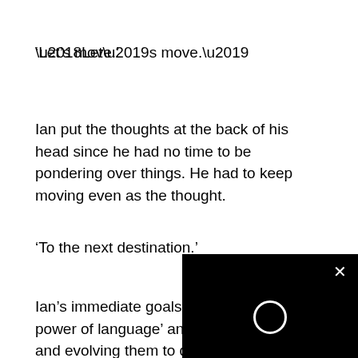‘Let’s move.’
Ian put the thoughts at the back of his head since he had no time to be pondering over things. He had to keep moving even as the thought.
‘To the next destination.’
Ian’s immediate goals were combining ‘the power of language’ and ‘the black magic’ and evolving them to discover the weakness in the Immorta swoop. He needed to be more knowle magic than he was now to achieve th